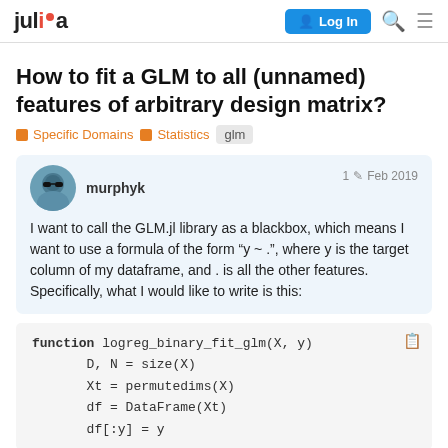julia | Log In
How to fit a GLM to all (unnamed) features of arbitrary design matrix?
Specific Domains  Statistics  glm
murphyk  1  Feb 2019
I want to call the GLM.jl library as a blackbox, which means I want to use a formula of the form "y ~ .", where y is the target column of my dataframe, and . is all the other features. Specifically, what I would like to write is this:
function logreg_binary_fit_glm(X, y)
    D, N = size(X)
    Xt = permutedims(X)
    df = DataFrame(Xt)
    df[:y] = y